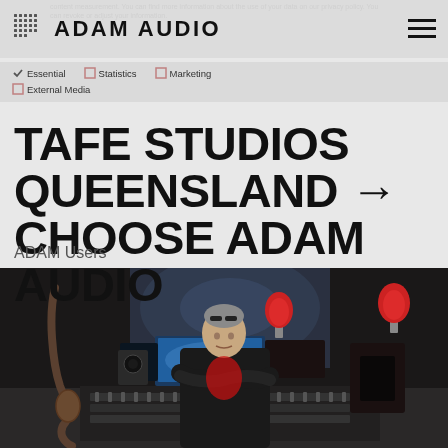ADAM AUDIO
content measurement. You can find more information about the use of your data on our privacy policy. You can revoke or adjust your information.
Essential   Statistics   Marketing   External Media
TAFE STUDIOS QUEENSLAND → CHOOSE ADAM AUDIO
ADAM Users
[Figure (photo): A man with arms crossed standing in a professional recording studio with mixing desk, computer monitors, studio monitors (speakers), a guitar, and red-shaded lamps in the background.]